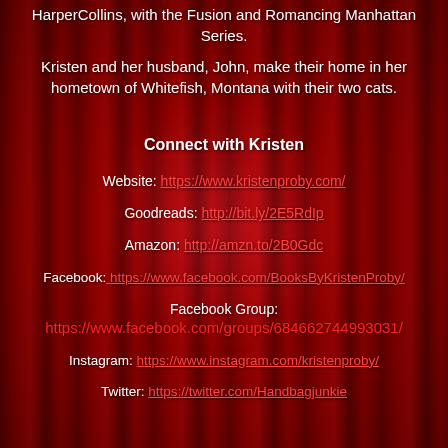HarperCollins, with the Fusion and Romancing Manhattan Series.
Kristen and her husband, John, make their home in her hometown of Whitefish, Montana with their two cats.
Connect with Kristen
Website: https://www.kristenproby.com/
Goodreads: http://bit.ly/2E5RdIp
Amazon: http://amzn.to/2B0Gdc
Facebook: https://www.facebook.com/BooksByKristenProby/
Facebook Group: https://www.facebook.com/groups/684662744993031/
Instagram: https://www.instagram.com/kristenproby/
Twitter: https://twitter.com/Handbagjunkie